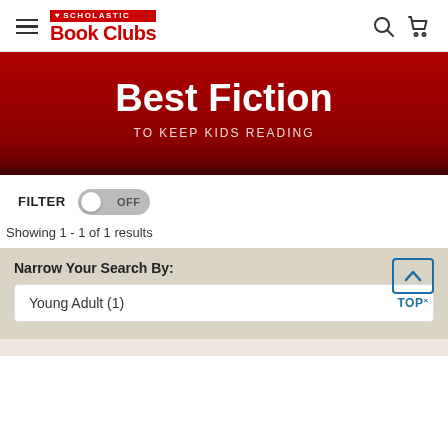Scholastic Book Clubs
Best Fiction
TO KEEP KIDS READING
FILTER OFF
Showing 1 - 1 of 1 results
Narrow Your Search By:
Young Adult (1)